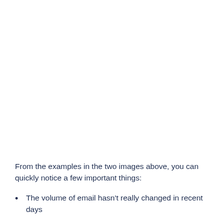From the examples in the two images above, you can quickly notice a few important things:
The volume of email hasn't really changed in recent days